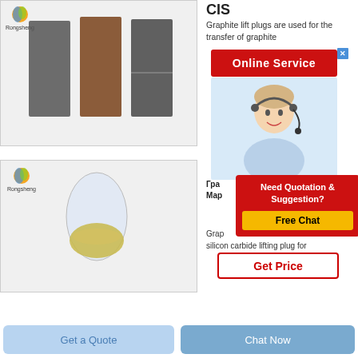[Figure (photo): Rongsheng logo with three graphite blocks (dark grey, brown, dark grey) on light grey background]
[Figure (photo): Rongsheng logo with egg-shaped vessel containing yellow-green powder on light grey background]
CIS
Graphite lift plugs are used for the transfer of graphite
[Figure (screenshot): Online Service banner in red with close X button]
[Figure (photo): Customer service representative with headset smiling]
Гра Мар
[Figure (screenshot): Need Quotation & Suggestion? Free Chat popup in red and yellow]
Grap silicon carbide lifting plug for
[Figure (screenshot): Get Price button with red border]
Get a Quote
Chat Now